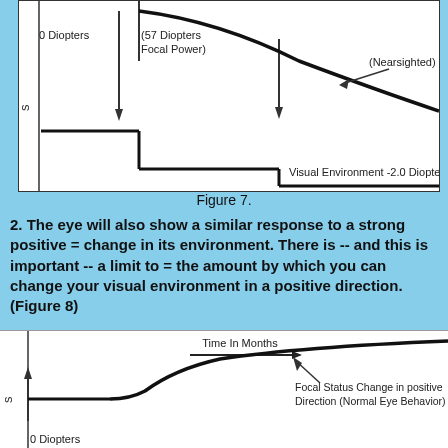[Figure (continuous-plot): Top portion of Figure 7 showing a nearsighted eye's focal status change over time (months). A curve descending from upper left (labeled '0 Diopters' and '57 Diopters Focal Power') trends downward toward '(Nearsighted)' annotation with an arrow. Below is a step function labeled 'Visual Environment -2.0 Diopters'. Y-axis labeled with rotated 's' character.]
Figure 7.
2. The eye will also show a similar response to a strong positive = change in its environment. There is -- and this is important -- a limit to = the amount by which you can change your visual environment in a positive direction. (Figure 8)
[Figure (continuous-plot): Bottom portion of Figure 8 showing focal status change in positive direction (Normal Eye Behavior) over time in months. A sigmoid/S-curve rises from a lower step level up toward a plateau. Labeled 'Time In Months' with rightward arrow, 'Focal Status Change in positive Direction (Normal Eye Behavior)' with arrow pointing to curve. Y-axis labeled with rotated 's'. '0 Diopters' label visible at bottom left.]